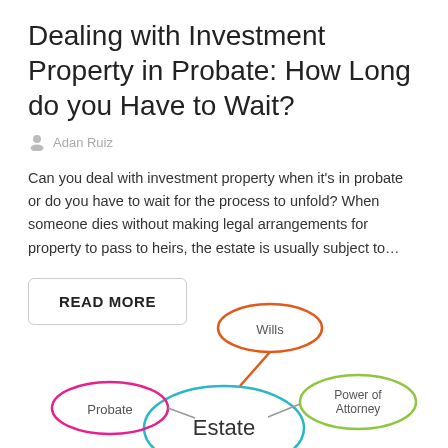Dealing with Investment Property in Probate: How Long do you Have to Wait?
Adan Ruiz
Can you deal with investment property when it’s in probate or do you have to wait for the process to unfold? When someone dies without making legal arrangements for property to pass to heirs, the estate is usually subject to…
READ MORE
[Figure (infographic): Mind map diagram showing Estate as the central node (large teal ellipse) with connected satellite nodes: Wills (orange ellipse, top), Probate (pink/magenta ellipse, left), Power of Attorney (green ellipse, right). Lines connect each satellite to the central Estate node.]